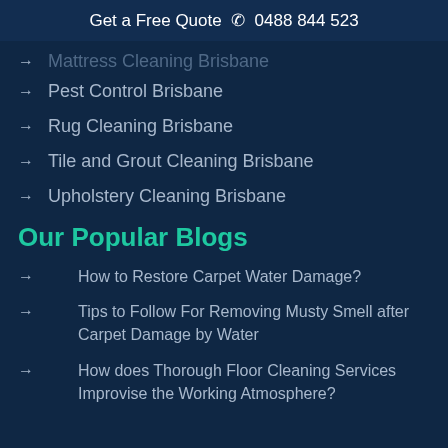Get a Free Quote ☎ 0488 844 523
Mattress Cleaning Brisbane
Pest Control Brisbane
Rug Cleaning Brisbane
Tile and Grout Cleaning Brisbane
Upholstery Cleaning Brisbane
Our Popular Blogs
How to Restore Carpet Water Damage?
Tips to Follow For Removing Musty Smell after Carpet Damage by Water
How does Thorough Floor Cleaning Services Improvise the Working Atmosphere?